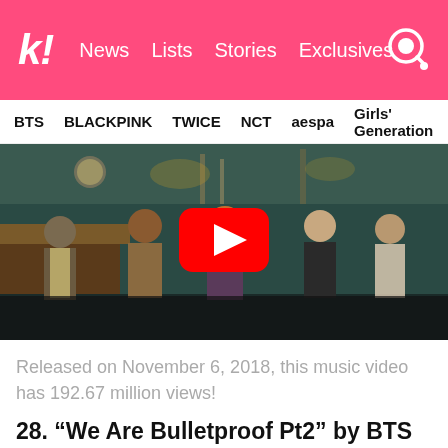k! News  Lists  Stories  Exclusives
BTS  BLACKPINK  TWICE  NCT  aespa  Girls' Generation
[Figure (screenshot): YouTube video thumbnail showing BTS members in a bar/restaurant setting with vintage styling. A large red YouTube play button is centered on the image.]
Released on November 6, 2018, this music video has 192.67 million views!
28. “We Are Bulletproof Pt2” by BTS